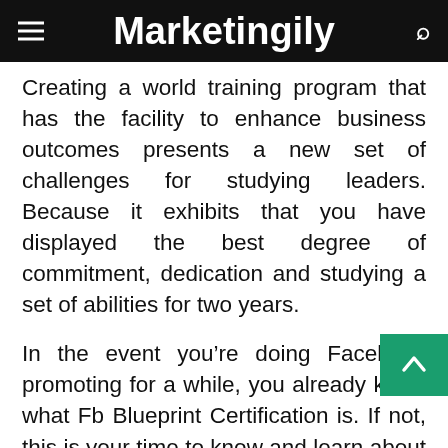Marketingily
Creating a world training program that has the facility to enhance business outcomes presents a new set of challenges for studying leaders. Because it exhibits that you have displayed the best degree of commitment, dedication and studying a set of abilities for two years.
In the event you’re doing Facebook promoting for a while, you already know what Fb Blueprint Certification is. If not, this is your time to know and learn about it. is a web-based video tutorial and coaching web site that teaches pc expertise in video format to members by way of month-to-month and annual subscriptions.
The UTRGV SBDC sponsors, promotes, develops seminars on various facets of small